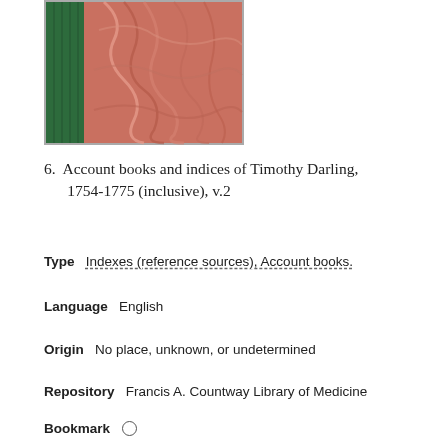[Figure (photo): A photograph of an old book showing a green cloth spine and marbled pink/red patterned cover boards.]
6.  Account books and indices of Timothy Darling, 1754-1775 (inclusive), v.2
Type   Indexes (reference sources), Account books.
Language   English
Origin   No place, unknown, or undetermined
Repository   Francis A. Countway Library of Medicine
Bookmark   ○